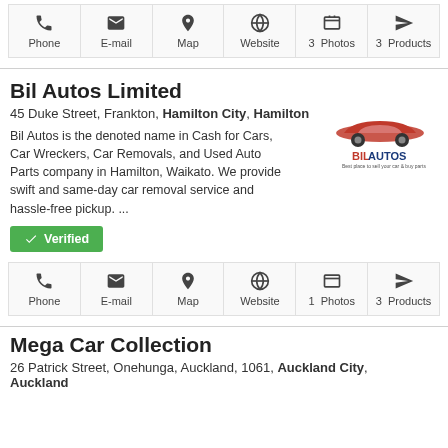[Figure (screenshot): Action bar with Phone, E-mail, Map, Website, Photos (3), Products (3) buttons at top]
Bil Autos Limited
45 Duke Street, Frankton, Hamilton City, Hamilton
Bil Autos is the denoted name in Cash for Cars, Car Wreckers, Car Removals, and Used Auto Parts company in Hamilton, Waikato. We provide swift and same-day car removal service and hassle-free pickup. ...
[Figure (logo): Bil Autos logo — red car silhouette above text BIL AUTOS in red and blue]
Verified
[Figure (screenshot): Action bar with Phone, E-mail, Map, Website, Photos (1), Products (3) buttons]
Mega Car Collection
26 Patrick Street, Onehunga, Auckland, 1061, Auckland City, Auckland